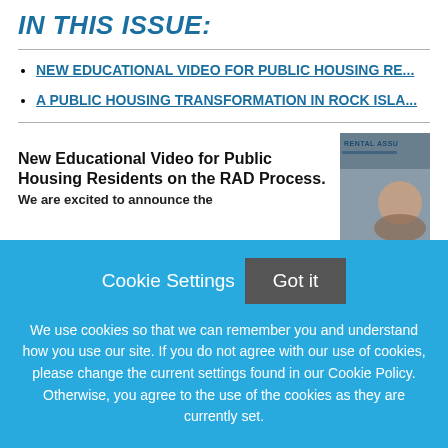IN THIS ISSUE:
NEW EDUCATIONAL VIDEO FOR PUBLIC HOUSING RE...
A PUBLIC HOUSING TRANSFORMATION IN ROCK ISLA...
New Educational Video for Public Housing Residents on the RAD Process.
We are excited to announce the...
[Figure (screenshot): Thumbnail image showing a video screenshot with text 'RENTAL ASSU...' and a person visible]
Cookie Settings   Got it

We use cookies so that we can remember you and understand how you use our site. If you do not agree with our use of cookies, please change the current settings found in our Cookie Policy. Otherwise, you agree to the use of the cookies as they are currently set.